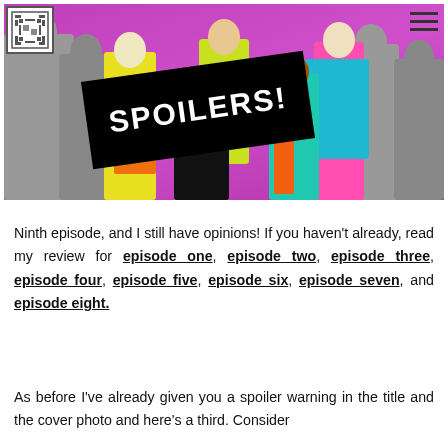[Figure (photo): Group photo of drag queens with colorful outfits on a purple/pink stage background, with a black diagonal 'SPOILERS!' banner overlaid on the image.]
Ninth episode, and I still have opinions! If you haven't already, read my review for episode one, episode two, episode three, episode four, episode five, episode six, episode seven, and episode eight.
As before I've already given you a spoiler warning in the title and the cover photo and here's a third. Consider